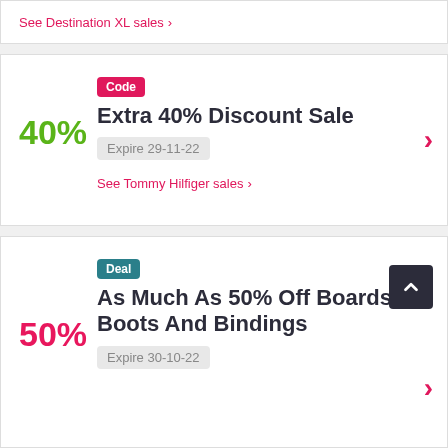See Destination XL sales >
Code
Extra 40% Discount Sale
Expire 29-11-22
See Tommy Hilfiger sales >
Deal
As Much As 50% Off Boards, Boots And Bindings
Expire 30-10-22